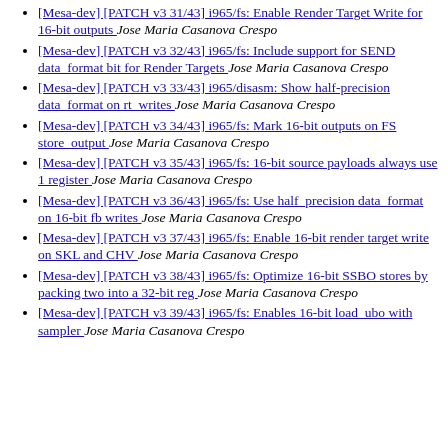[Mesa-dev] [PATCH v3 31/43] i965/fs: Enable Render Target Write for 16-bit outputs  Jose Maria Casanova Crespo
[Mesa-dev] [PATCH v3 32/43] i965/fs: Include support for SEND data_format bit for Render Targets  Jose Maria Casanova Crespo
[Mesa-dev] [PATCH v3 33/43] i965/disasm: Show half-precision data_format on rt_writes  Jose Maria Casanova Crespo
[Mesa-dev] [PATCH v3 34/43] i965/fs: Mark 16-bit outputs on FS store_output  Jose Maria Casanova Crespo
[Mesa-dev] [PATCH v3 35/43] i965/fs: 16-bit source payloads always use 1 register  Jose Maria Casanova Crespo
[Mesa-dev] [PATCH v3 36/43] i965/fs: Use half_precision data_format on 16-bit fb writes  Jose Maria Casanova Crespo
[Mesa-dev] [PATCH v3 37/43] i965/fs: Enable 16-bit render target write on SKL and CHV  Jose Maria Casanova Crespo
[Mesa-dev] [PATCH v3 38/43] i965/fs: Optimize 16-bit SSBO stores by packing two into a 32-bit reg  Jose Maria Casanova Crespo
[Mesa-dev] [PATCH v3 39/43] i965/fs: Enables 16-bit load_ubo with sampler  Jose Maria Casanova Crespo